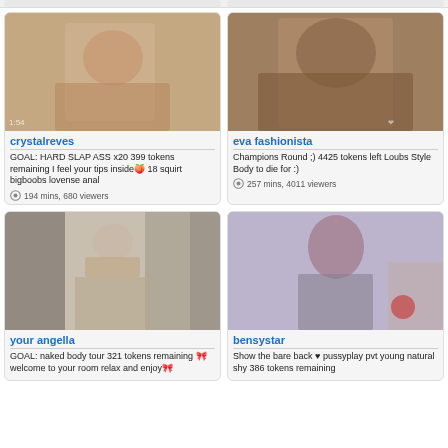[Figure (screenshot): Top partial row of two stream cards (cropped)]
[Figure (photo): crystalreves stream thumbnail - person from behind]
crystalreves
GOAL: HARD SLAP ASS x20 399 tokens remaining I feel your tips inside 18 squirt bigboobs lovense anal
194 mins, 680 viewers
[Figure (photo): eva fashionista stream thumbnail - person in stockings]
eva fashionista
Champions Round ;) 4425 tokens left Loubs Style Body to die for :)
257 mins, 4011 viewers
[Figure (photo): your angella stream thumbnail - person in crop top]
your angella
GOAL: naked body tour 321 tokens remaining welcome to your room relax and enjoy
[Figure (photo): bensystar stream thumbnail - person with brown hair]
bensystar
Show the bare back ♥ pussyplay pvt young natural shy 386 tokens remaining